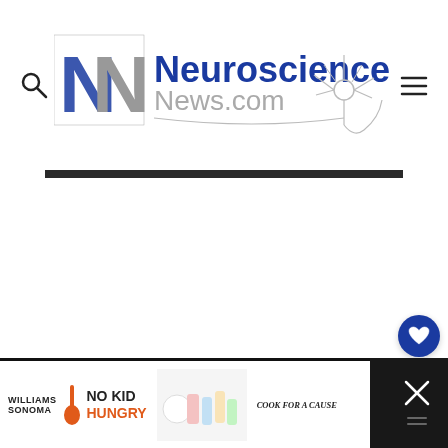[Figure (logo): Neuroscience News.com logo with stylized NN monogram and neuron graphic]
[Figure (screenshot): Main content area of Neuroscience News website, showing a dark navigation bar and mostly blank white article content area]
[Figure (infographic): Williams Sonoma No Kid Hungry Cook for a Cause advertisement banner at bottom of page with baking items image and close button]